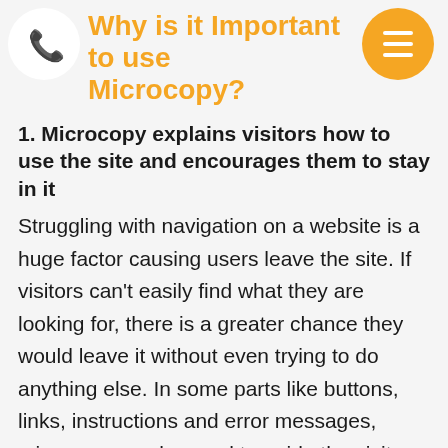Why is it Important to use Microcopy?
1. Microcopy explains visitors how to use the site and encourages them to stay in it
Struggling with navigation on a website is a huge factor causing users leave the site. If visitors can't easily find what they are looking for, there is a greater chance they would leave it without even trying to do anything else. In some parts like buttons, links, instructions and error messages, microcopy can be used to guide the visitors and making them stay on the right path to a conversion.